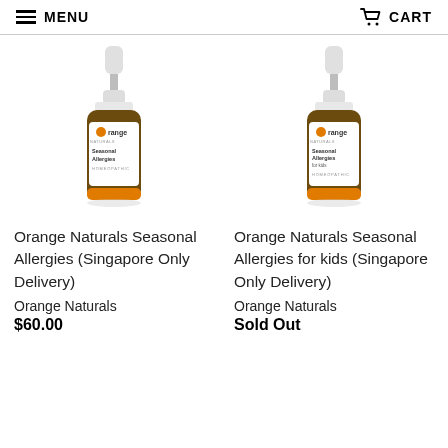MENU   CART
[Figure (photo): Orange Naturals Seasonal Allergies dropper bottle product photo]
[Figure (photo): Orange Naturals Seasonal Allergies for kids dropper bottle product photo]
Orange Naturals Seasonal Allergies (Singapore Only Delivery)
Orange Naturals
$60.00
Orange Naturals Seasonal Allergies for kids (Singapore Only Delivery)
Orange Naturals
Sold Out